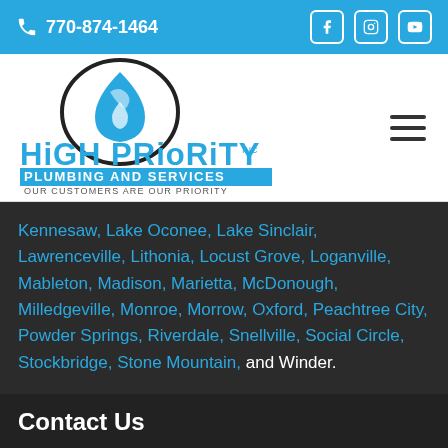770-874-1464
[Figure (logo): High Priority Plumbing and Services logo with water drop icon and text 'Our Customers Are Our Priority']
Kennesaw, Lake Oconee, Lake Sinclair, Lawrenceville, Lithonia, Locust Grove, Loganville, Mableton, Madison, Marietta, McDonough, Milledgeville, Monroe, Morrow, Oxford, Peachtree City, Powder Springs, Riverdale, Snellville, Social Circle, Stockbridge, Stone Mountain, and Winder.
Contact Us